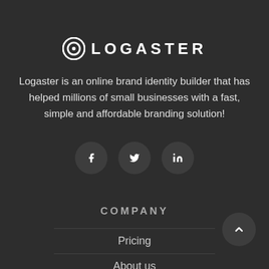[Figure (logo): Logaster logo: circular icon with letter O and the text LOGASTER in bold uppercase letters]
Logaster is an online brand identity builder that has helped millions of small businesses with a fast, simple and affordable branding solution!
[Figure (infographic): Three circular social media buttons: Facebook (f), Twitter (bird), LinkedIn (in)]
COMPANY
Pricing
About us
Press